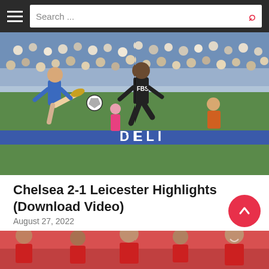Search ...
[Figure (photo): A Chelsea player in blue kit kicking the ball while a Leicester City player in dark FBS kit looks on, with a crowd in the background at Stamford Bridge]
Chelsea 2-1 Leicester Highlights (Download Video)
August 27, 2022
[Figure (photo): Liverpool players in red kits celebrating together on the pitch, with Virgil van Dijk smiling on the right]